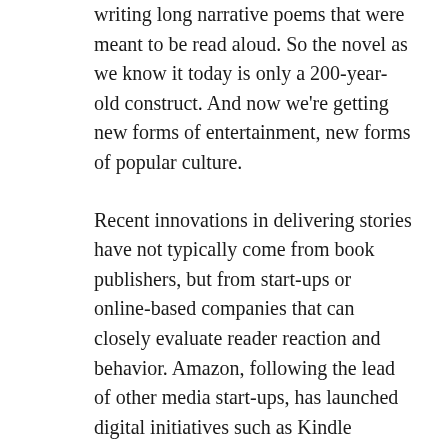writing long narrative poems that were meant to be read aloud. So the novel as we know it today is only a 200-year-old construct. And now we're getting new forms of entertainment, new forms of popular culture.
Recent innovations in delivering stories have not typically come from book publishers, but from start-ups or online-based companies that can closely evaluate reader reaction and behavior. Amazon, following the lead of other media start-ups, has launched digital initiatives such as Kindle Singles (to deliver stories between 10,000 and 30,000 words), Kindle Serials (to sell story subscriptions) and Kindle Worlds (to deliver fan fiction). None of these genres or formats really fit into the existing paradigm of the book or the legal strictures surrounding it; therefore the traditional publishing business, concerned about profits and